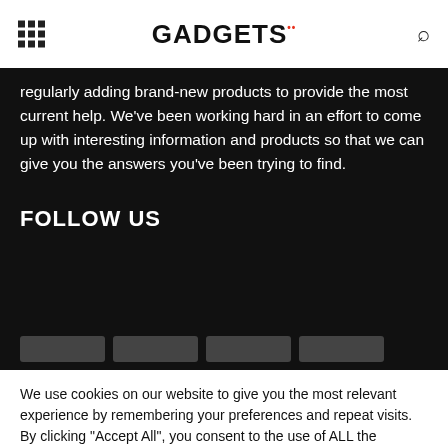GADGETS
regularly adding brand-new products to provide the most current help. We've been working hard in an effort to come up with interesting information and products so that we can give you the answers you've been trying to find.
FOLLOW US
We use cookies on our website to give you the most relevant experience by remembering your preferences and repeat visits. By clicking "Accept All", you consent to the use of ALL the cookies. However, you may visit "Cookie Settings" to provide a controlled consent.
Cookie Settings | Accept All